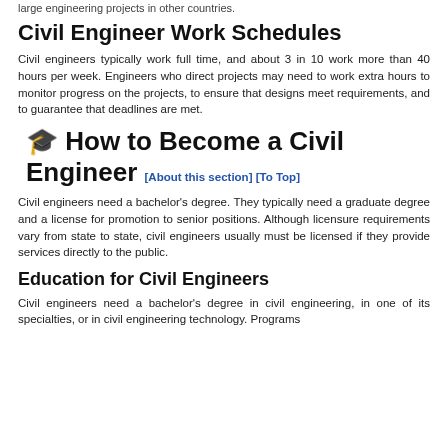large engineering projects in other countries.
Civil Engineer Work Schedules
Civil engineers typically work full time, and about 3 in 10 work more than 40 hours per week. Engineers who direct projects may need to work extra hours to monitor progress on the projects, to ensure that designs meet requirements, and to guarantee that deadlines are met.
🎓 How to Become a Civil Engineer [About this section] [To Top]
Civil engineers need a bachelor's degree. They typically need a graduate degree and a license for promotion to senior positions. Although licensure requirements vary from state to state, civil engineers usually must be licensed if they provide services directly to the public.
Education for Civil Engineers
Civil engineers need a bachelor's degree in civil engineering, in one of its specialties, or in civil engineering technology. Programs